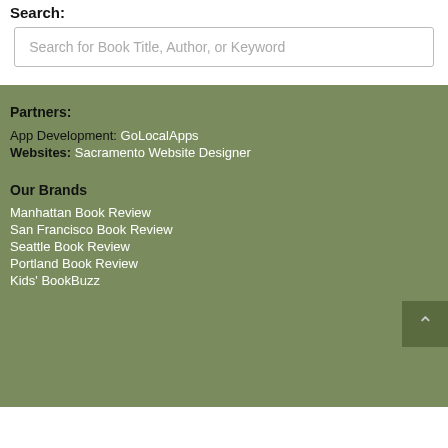Search:
Search for Book Title, Author, or Keyword
Partners:
App Development: GoLocalApps
Websites: Sacramento Website Designer
Our Brands
Manhattan Book Review
San Francisco Book Review
Seattle Book Review
Portland Book Review
Kids' BookBuzz